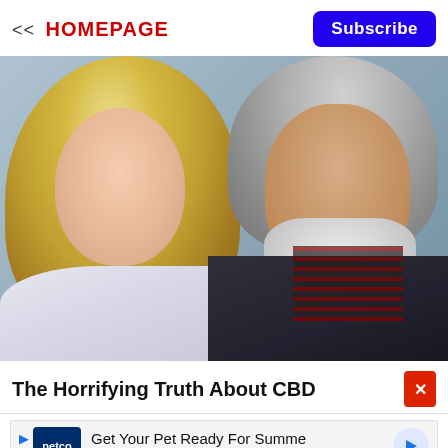<< HOMEPAGE
Subscribe
[Figure (photo): A smiling blonde woman on the left and an older man with white beard and gray hair on the right, posing together. The woman wears a silver/white top; the man wears a dark jacket with a plaid shirt.]
The Horrifying Truth About CBD
Get Your Pet Ready For Summe Petco